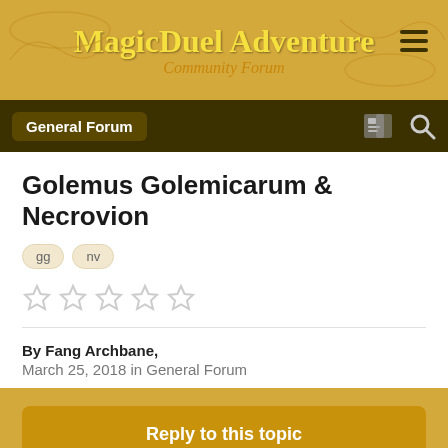MagicDuel Adventure Community Forum
General Forum
Golemus Golemicarum & Necrovion
gg  nv
★★★★★ (unrated)
By Fang Archbane,
March 25, 2018 in General Forum
Reply to this topic
« PREV  Page 1 of 2  NEXT »